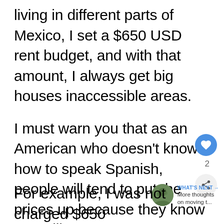living in different parts of Mexico, I set a $650 USD rent budget, and with that amount, I always get big houses inaccessible areas.
I must warn you that as an American who doesn't know how to speak Spanish, people will tend to put the prices up because they know you will pay.
For example, I was not charged $650